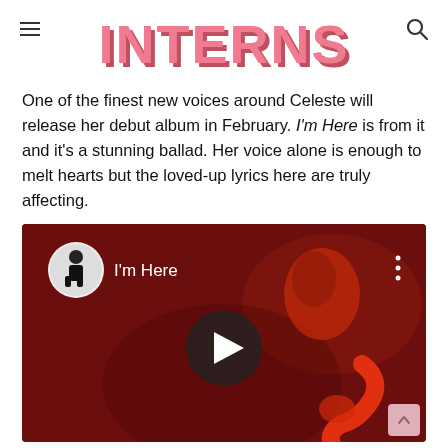INTERNS
One of the finest new voices around Celeste will release her debut album in February. I'm Here is from it and it's a stunning ballad. Her voice alone is enough to melt hearts but the loved-up lyrics here are truly affecting.
[Figure (screenshot): YouTube video embed showing 'I'm Here' by Celeste. Dark red background with silhouette of a face and abstract red figure. YouTube channel avatar (person in black coat) visible in top left circle. Title 'I’m Here' shown. Play button in center. Three-dot menu icon top right.]